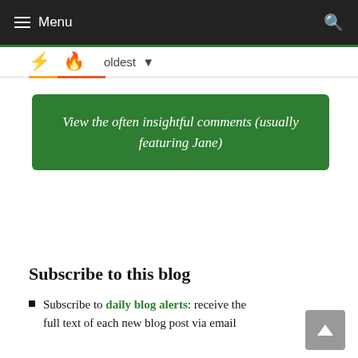Menu
[Figure (screenshot): Sort bar with bolt icon, fire icon, and 'oldest' dropdown]
View the often insightful comments (usually featuring Jane)
Subscribe to this blog
Subscribe to daily blog alerts: receive the full text of each new blog post via email